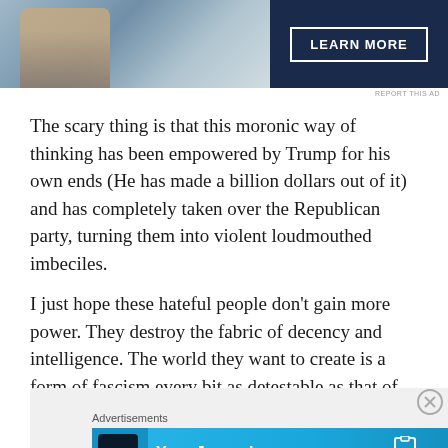[Figure (screenshot): Top advertisement banner with photo on left (person image) and dark navy blue panel on right with 'LEARN MORE' button in white border]
REPORT THIS AD
The scary thing is that this moronic way of thinking has been empowered by Trump for his own ends (He has made a billion dollars out of it) and has completely taken over the Republican party, turning them into violent loudmouthed imbeciles.
I just hope these hateful people don't gain more power. They destroy the fabric of decency and intelligence. The world they want to create is a form of fascism every bit as detestable as that of the Taliban.
[Figure (screenshot): Bottom advertisement area: 'Advertisements' label above a cyan/blue banner ad for 'Your Journal for life' by DayOne app, with phone image on left and DayOne logo on right]